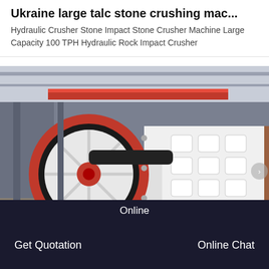Ukraine large talc stone crushing mac...
Hydraulic Crusher Stone Impact Stone Crusher Machine Large Capacity 100 TPH Hydraulic Rock Impact Crusher
[Figure (photo): Industrial jaw crusher machine with large red and black flywheel on the left, white body with rectangular openings on the right, photographed inside a factory/warehouse with red overhead crane beam visible in background.]
Online
Get Quotation
Online Chat